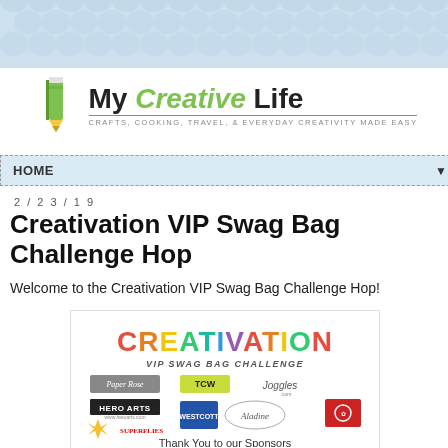[Figure (illustration): Scallop pattern decorative header background in light blue]
[Figure (logo): My Creative Life blog logo with pencil graphic. Text: My Creative Life. Subtitle: CRAFTS, COOKING, TRAVEL, & EVERYDAY CREATIVITY MADE EASY]
HOME ▼
2/23/19
Creativation VIP Swag Bag Challenge Hop
Welcome to the Creativation VIP Swag Bag Challenge Hop!
[Figure (illustration): Creativation VIP Swag Bag Challenge promotional image with sponsor logos: Paper Rose, TCW, Joggles, Hero Arts, Superflies, Westcott, Aladine, and a red logo. Text: Thank You to our Sponsors]